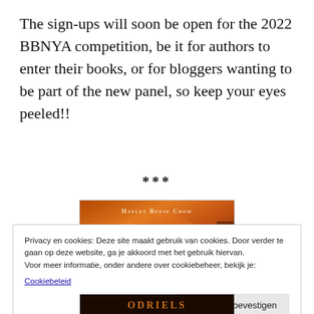The sign-ups will soon be open for the 2022 BBNYA competition, be it for authors to enter their books, or for bloggers wanting to be part of the new panel, so keep your eyes peeled!!
***
[Figure (illustration): Book cover showing two figures (a girl with red hair and a young man) against a fiery orange background, with the author name HAYLEY REESE CHOW at the top in small caps.]
Privacy en cookies: Deze site maakt gebruik van cookies. Door verder te gaan op deze website, ga je akkoord met het gebruik hiervan.
Voor meer informatie, onder andere over cookiebeheer, bekijk je:
Cookiebeleid
[Figure (other): Bottom portion of a book cover with stylized orange text partially visible.]